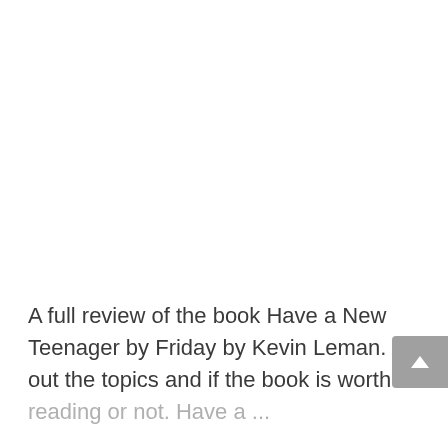A full review of the book Have a New Teenager by Friday by Kevin Leman. Find out the topics and if the book is worth reading or not. Have a ...